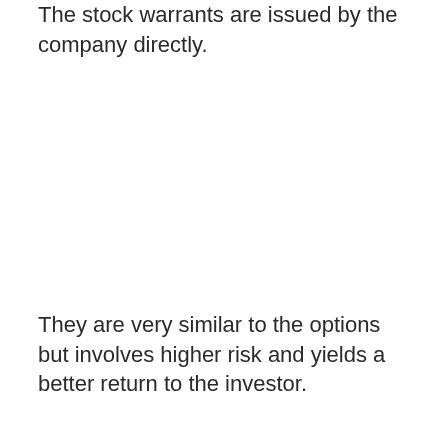The stock warrants are issued by the company directly.
They are very similar to the options but involves higher risk and yields a better return to the investor.